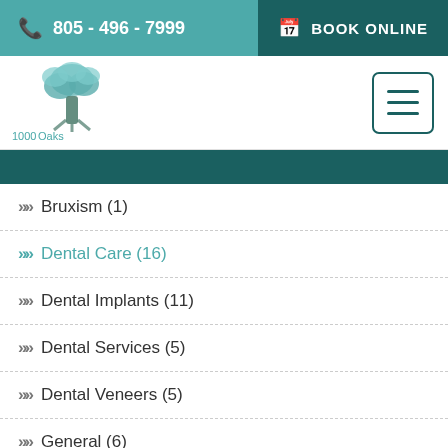805 - 496 - 7999  BOOK ONLINE
[Figure (logo): 1000 Oaks Dental & Implants logo with tree illustration]
Categories
Bruxism (1)
Dental Care (16)
Dental Implants (11)
Dental Services (5)
Dental Veneers (5)
General (6)
Gum Disease (2)